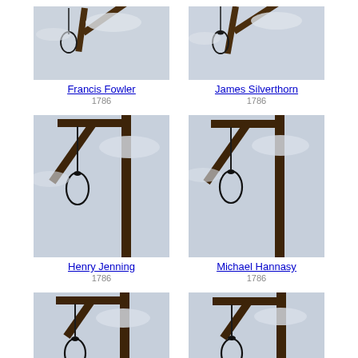[Figure (photo): Photograph of a gallows with a noose hanging from a wooden beam against a cloudy sky — Francis Fowler]
Francis Fowler
1786
[Figure (photo): Photograph of a gallows with a noose hanging from a wooden beam against a cloudy sky — James Silverthorn]
James Silverthorn
1786
[Figure (photo): Photograph of a gallows with a noose hanging from a wooden beam against a cloudy sky — Henry Jenning]
Henry Jenning
1786
[Figure (photo): Photograph of a gallows with a noose hanging from a wooden beam against a cloudy sky — Michael Hannasy]
Michael Hannasy
1786
[Figure (photo): Photograph of a gallows with a noose hanging from a wooden beam against a cloudy sky — partial, bottom of page]
[Figure (photo): Photograph of a gallows with a noose hanging from a wooden beam against a cloudy sky — partial, bottom of page]